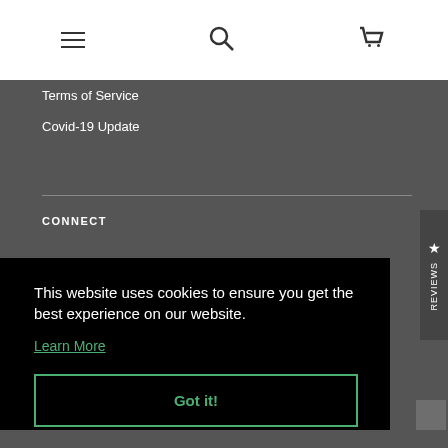[Figure (screenshot): Website navigation header with hamburger menu icon, search icon, and shopping cart icon on white background]
Terms of Service
Covid-19 Update
CONNECT
This website uses cookies to ensure you get the best experience on our website.
Learn More
Got it!